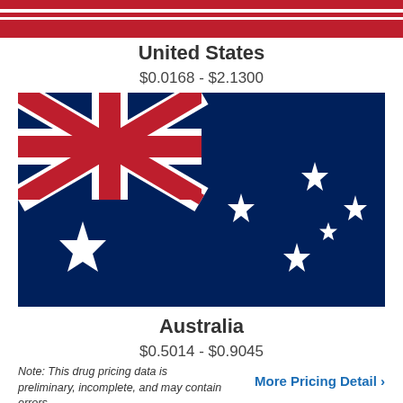United States
$0.0168 - $2.1300
[Figure (illustration): Australian national flag: dark blue background with Union Jack in upper left canton, Commonwealth Star (seven-pointed) below, and Southern Cross constellation (four seven-pointed stars and one five-pointed star) on the fly side.]
Australia
$0.5014 - $0.9045
Note: This drug pricing data is preliminary, incomplete, and may contain errors.
More Pricing Detail ›